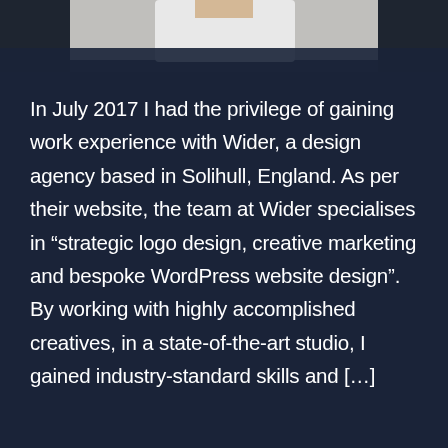[Figure (photo): Partial photo of a person wearing a white shirt, cropped at the top of the page against a dark background]
In July 2017 I had the privilege of gaining work experience with Wider, a design agency based in Solihull, England. As per their website, the team at Wider specialises in “strategic logo design, creative marketing and bespoke WordPress website design”. By working with highly accomplished creatives, in a state-of-the-art studio, I gained industry-standard skills and […]